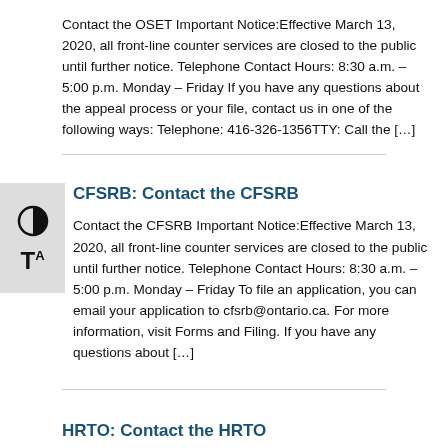Contact the OSET Important Notice:Effective March 13, 2020, all front-line counter services are closed to the public until further notice. Telephone Contact Hours: 8:30 a.m. – 5:00 p.m. Monday – Friday If you have any questions about the appeal process or your file, contact us in one of the following ways: Telephone: 416-326-1356TTY: Call the […]
CFSRB: Contact the CFSRB
Contact the CFSRB Important Notice:Effective March 13, 2020, all front-line counter services are closed to the public until further notice. Telephone Contact Hours: 8:30 a.m. – 5:00 p.m. Monday – Friday To file an application, you can email your application to cfsrb@ontario.ca. For more information, visit Forms and Filing. If you have any questions about […]
HRTO: Contact the HRTO
Contact the HRTO Important Notice: Effective March 13,